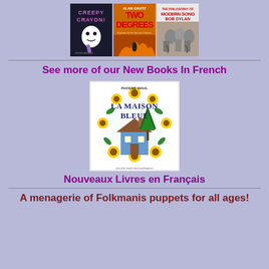[Figure (photo): Three book covers side by side: Creepy Crayon!, Two Degrees by Alan Gratz, and The Philosophy of Modern Song by Bob Dylan]
See more of our New Books In French
[Figure (photo): Book cover of La Maison Bleue by Phoebe Wahl, featuring a blue house surrounded by sunflowers, published by Les Editions des Elephants]
Nouveaux Livres en Français
A menagerie of Folkmanis puppets for all ages!